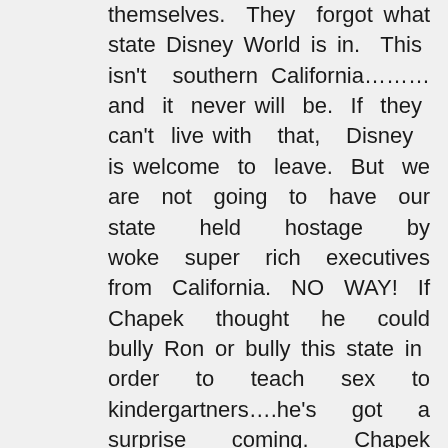themselves. They forgot what state Disney World is in. This isn't southern California………and it never will be. If they can't live with that, Disney is welcome to leave. But we are not going to have our state held hostage by woke super rich executives from California. NO WAY! If Chapek thought he could bully Ron or bully this state in order to teach sex to kindergartners….he's got a surprise coming. Chapek picked the wrong governor